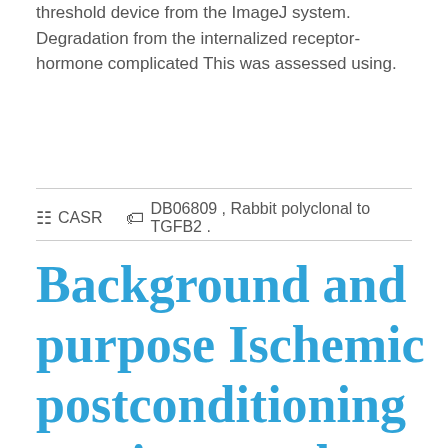threshold device from the ImageJ system. Degradation from the internalized receptor-hormone complicated This was assessed using.
CASR   DB06809, Rabbit polyclonal to TGFB2.
Background and purpose Ischemic postconditioning continues to be proven a protective